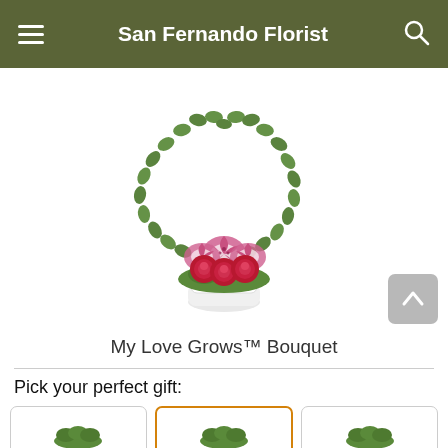San Fernando Florist
[Figure (photo): A floral bouquet arrangement called 'My Love Grows Bouquet' featuring red roses and pink stargazer lilies in a white pot, with a heart-shaped arch made of green leaves above the flowers.]
My Love Grows™ Bouquet
Pick your perfect gift:
[Figure (photo): Three gift option thumbnail cards shown at the bottom, the middle one highlighted with an orange border.]